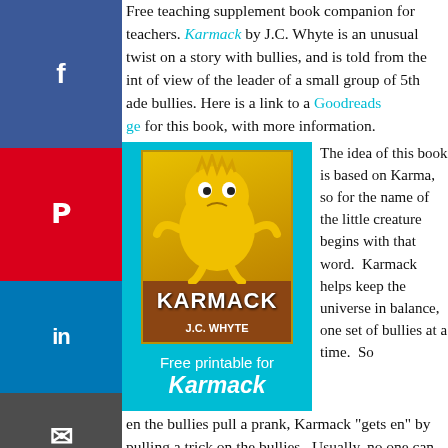Free teaching supplement book companion for teachers. Karmack by J.C. Whyte is an unusual twist on a story with bullies, and is told from the point of view of the leader of a small group of 5th grade bullies. Here is a link to a Goodreads page for this book, with more information.
[Figure (illustration): Book cover for 'Karmack' by J.C. Whyte shown inside a cyan/teal colored box with text 'Free printable for Karmack' below the cover image]
The idea of this book is based on Karma, so for the name of the little creature begins with that word. Karmack helps keep the universe in balance, one set of bullies at a time. So when the bullies pull a prank, Karmack "gets even" by pulling a trick on the bullies. Usually, no one can see Karmack. However, Sully, the leader of this small group of bullies, is "speedy-eyed" and is able to see and catch Karmack. When he